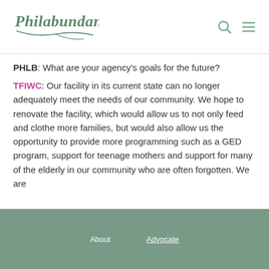[Figure (logo): Philabundance logo with stylized text and swoosh graphic]
PHLB: What are your agency's goals for the future?
TFIWC: Our facility in its current state can no longer adequately meet the needs of our community. We hope to renovate the facility, which would allow us to not only feed and clothe more families, but would also allow us the opportunity to provide more programming such as a GED program, support for teenage mothers and support for many of the elderly in our community who are often forgotten. We are
Advocate   About